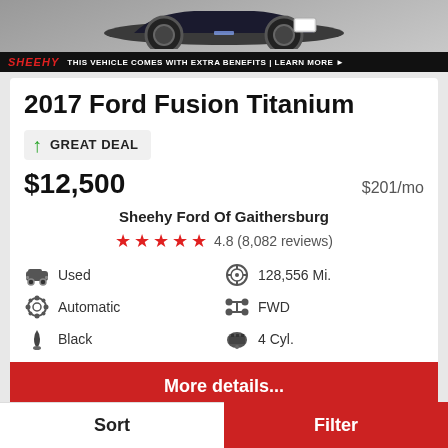[Figure (photo): Dark blue Ford Fusion front view with SHEEHY dealership advertisement banner: 'THIS VEHICLE COMES WITH EXTRA BENEFITS | LEARN MORE']
2017 Ford Fusion Titanium
GREAT DEAL
$12,500   $201/mo
Sheehy Ford Of Gaithersburg
4.8 (8,082 reviews)
Used
128,556 Mi.
Automatic
FWD
Black
4 Cyl.
More details...
Sort
Filter